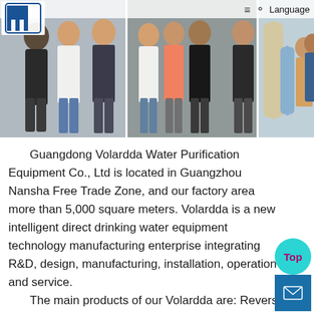[Figure (photo): Three-panel photo collage showing groups of employees/visitors posing in a water purification equipment factory/facility. Left panel: three people standing indoors. Middle panel: four people including one in orange and one in black standing in front of equipment. Right panel: three people standing next to large water filter tanks.]
Language
Guangdong Volardda Water Purification Equipment Co., Ltd is located in Guangzhou Nansha Free Trade Zone, and our factory area more than 5,000 square meters. Volardda is a new intelligent direct drinking water equipment technology manufacturing enterprise integrating R&D, design, manufacturing, installation, operation and service.
    The main products of our Volardda are: Reverse Osmosis Systems,EDI Systems,Water sterilization products, pur…